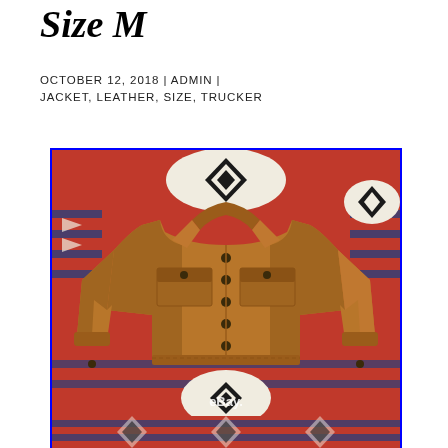Size M
OCTOBER 12, 2018 | ADMIN | JACKET, LEATHER, SIZE, TRUCKER
[Figure (photo): Brown leather trucker jacket laid flat on a colorful southwestern/Native American patterned rug with red, white, blue, and black geometric designs. The jacket has two chest pockets with button flaps, a button-front closure, and a collar. An eBay watermark is visible at the bottom center of the image.]
[Figure (photo): Bottom partial view of the same southwestern patterned rug with red, blue, black, and white geometric diamond and arrow patterns.]